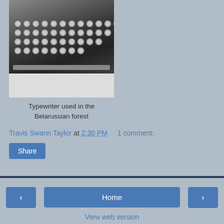[Figure (photo): Top-down view of an old black typewriter with round keys, on a white surface]
Typewriter used in the Belarussian forest
Travis Swann Taylor at 2:30 PM    1 comment:
Share
‹    Home    ›
View web version
ABOUT ME
[Figure (photo): Portrait photo of Travis Swann Taylor, a man with short dark hair wearing a light blue shirt]
Travis Swann Taylor
Atlanta, GA, United States
Of all the things I love and find interesting, and there's a lot, being a tourist is a passion that has been